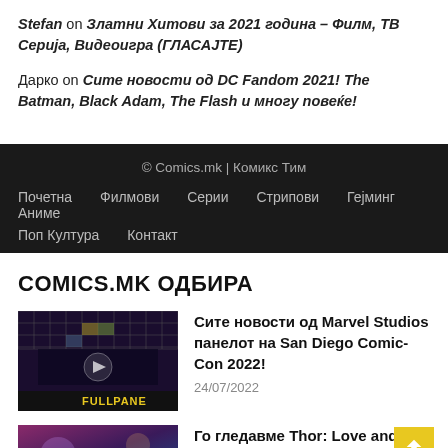Stefan on Златни Хитови за 2021 година – Филм, ТВ Серија, Видеоигра (ГЛАСАЈТЕ)
Дарко on Сите новости од DC Fandom 2021! The Batman, Black Adam, The Flash и многу повеќе!
© Comics.mk | Комикс Тим
Почетна
Филмови
Серии
Стрипови
Гејминг
Аниме
Поп Култура
Контакт
COMICS.MK ОДБИРА
[Figure (screenshot): Video thumbnail with grid pattern and FULL PANE label]
Сите новости од Marvel Studios панелот на San Diego Comic-Con 2022!
24/07/2022
[Figure (photo): Colorful thumbnail image for Thor article]
Го гледавме Thor: Love and Thunder –